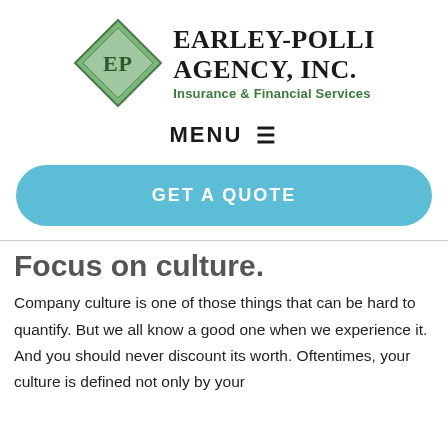[Figure (logo): Earley-Polli Agency, Inc. logo with green diamond shape containing 'EP' initials, followed by company name and tagline 'Insurance & Financial Services']
MENU ☰
GET A QUOTE
Focus on culture.
Company culture is one of those things that can be hard to quantify. But we all know a good one when we experience it. And you should never discount its worth. Oftentimes, your culture is defined not only by your